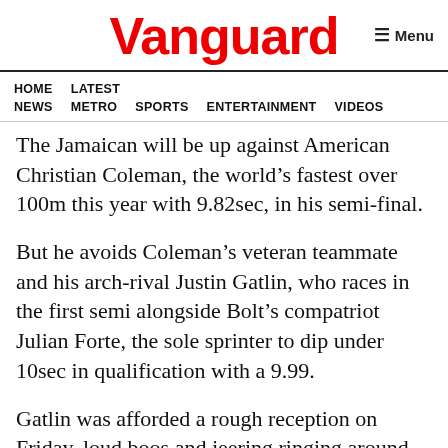Vanguard
HOME  LATEST NEWS  METRO  SPORTS  ENTERTAINMENT  VIDEOS
The Jamaican will be up against American Christian Coleman, the world’s fastest over 100m this year with 9.82sec, in his semi-final.
But he avoids Coleman’s veteran teammate and his arch-rival Justin Gatlin, who races in the first semi alongside Bolt’s compatriot Julian Forte, the sole sprinter to dip under 10sec in qualification with a 9.99.
Gatlin was afforded a rough reception on Friday, loud boos and jeering ringing around the same